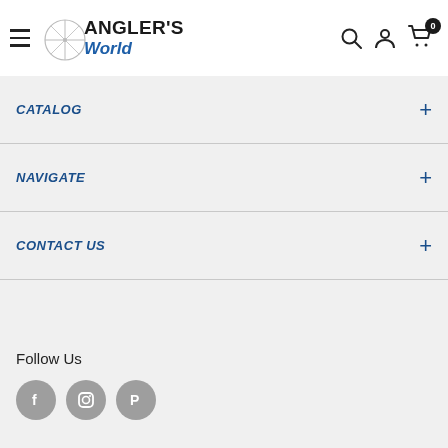[Figure (logo): Angler's World logo with compass rose graphic and blue italic 'World' text]
CATALOG
NAVIGATE
CONTACT US
Follow Us
[Figure (illustration): Social media icons: Facebook, Instagram, Pinterest in grey circles]